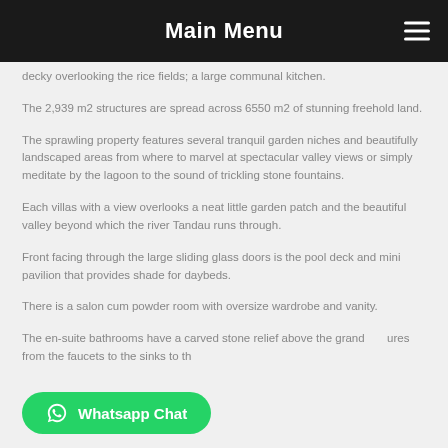Main Menu
decky overlooking the rice fields; a large communal kitchen.
The 2,939 m2 structures are spread across 6550 m2 of stunning freehold land.
The sprawling property features several tranquil garden niches and beautifully landscaped areas from where to marvel at spectacular valley views or simply meditate by the lagoon to the sound of trickling stone fountains.
Each villas with a view overlooks a neat little garden patch and the beautiful valley beyond which the river Tandau runs through.
Front facing through the large sliding glass doors is the pool deck and mini pavilion that provides shade for daybeds.
There is a salon cum powder room with oversize wardrobe and vanity.
The en-suite bathrooms have a carved stone relief above the grand ures from the faucets to the sinks to th